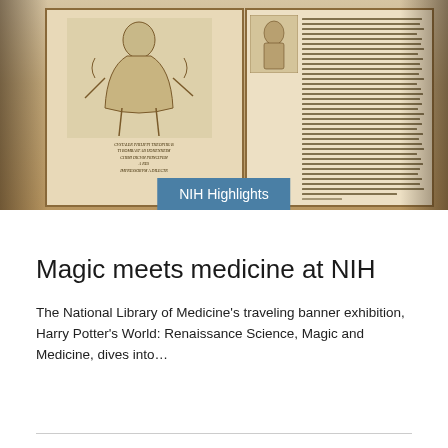[Figure (photo): Photograph of an open antique medical/alchemical book showing two pages: the left page displays an illustration of a human figure (possibly anatomical or alchemical) with Latin text below, and the right page shows a smaller woodcut illustration and dense columns of old Latin text. An NIH Highlights badge overlays the bottom center of the image.]
Magic meets medicine at NIH
The National Library of Medicine's traveling banner exhibition, Harry Potter's World: Renaissance Science, Magic and Medicine, dives into...